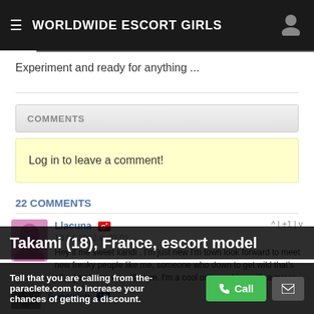WORLDWIDE ESCORT GIRLS
Experiment and ready for anything ...
COMMENTS
Log in to leave a comment!
22 COMMENTS
Llacuna  18.04.2022 in 03:01  Hey it me sweet kandi . I'm just new I'm town look forward to meet new freaky people like me, someone who down to get wild that's all a good time we will have. I'm a cool out speaking with a super
Takami (18), France, escort model
Tell that you are calling from the-paraclete.com to increase your chances of getting a discount.
Superrich